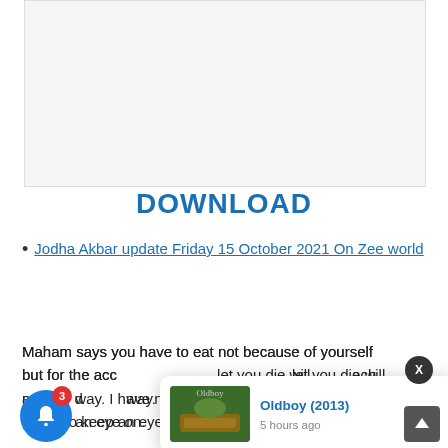DOWNLOAD
Jodha Akbar update Friday 15 October 2021 On Zee world
Maham says you have to eat not because of yourself but for the accomplishment of your duty, she will let you die will reach my destiny way. I have no other way. She asks the guard to keep an eye on.